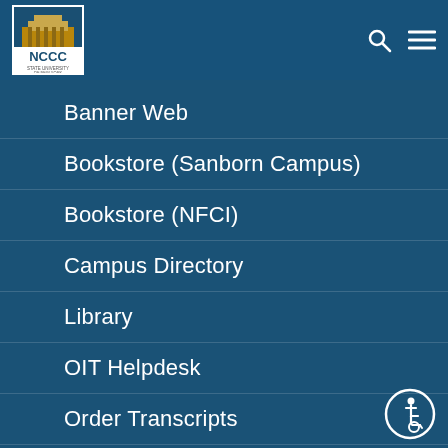[Figure (logo): NCCC Niagara County Community College logo with building image and SUNY affiliation]
Banner Web
Bookstore (Sanborn Campus)
Bookstore (NFCI)
Campus Directory
Library
OIT Helpdesk
Order Transcripts
Shuttle Schedule
Student Consumer Information
[Figure (illustration): Wheelchair accessibility icon in circle]